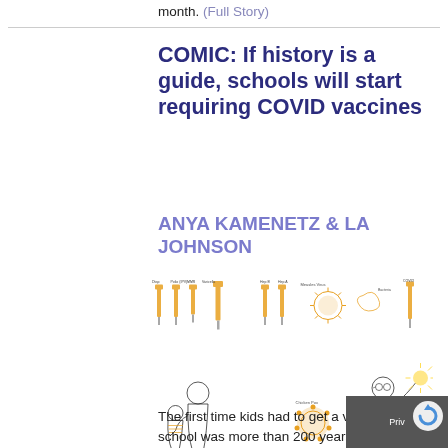month. (Full Story)
COMIC: If history is a guide, schools will start requiring COVID vaccines
ANYA KAMENETZ & LA JOHNSON
[Figure (illustration): Comic illustration showing vaccine syringes labeled with various vaccine types at the top, and scenes of a child being vaccinated by a doctor on the left, various virus/pathogen illustrations in the center, and a scientist or doctor figure on the right with lab equipment.]
The first time kids had to get a vaccine to go to school was more than 200 years ago. The